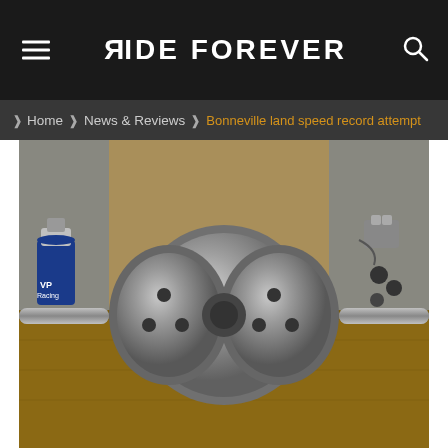RIDE FOREVER
Home > News & Reviews > Bonneville land speed record attempt
[Figure (photo): A close-up photograph of a machined metal crankshaft assembly resting on a wooden surface in a workshop, with various engine parts visible in the background along with a can of racing fuel or lubricant on the left side.]